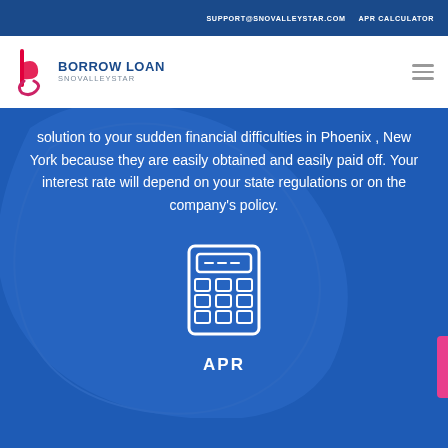SUPPORT@SNOVALLEYSTAR.COM   APR CALCULATOR
[Figure (logo): Borrow Loan SnoValleyStar logo with stylized 'b' icon in pink/red and blue text reading BORROW LOAN SNOVALLEYSTAR]
solution to your sudden financial difficulties in Phoenix , New York because they are easily obtained and easily paid off. Your interest rate will depend on your state regulations or on the company's policy.
[Figure (illustration): White line-art calculator icon on blue background]
APR